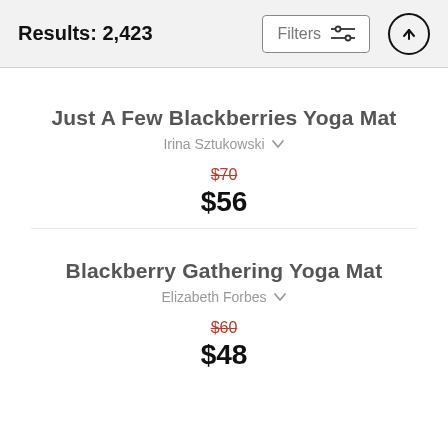Results: 2,423
Just A Few Blackberries Yoga Mat
Irina Sztukowski
$70 (original price, strikethrough) $56 (sale price)
Blackberry Gathering Yoga Mat
Elizabeth Forbes
$60 (original price, strikethrough) $48 (sale price)